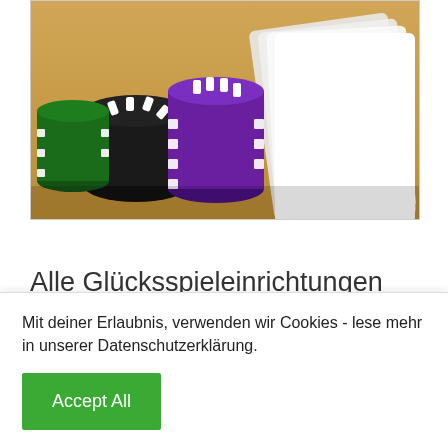[Figure (photo): Casino chips stacked in black and purple colors on a wooden table with playing cards]
Alle Glücksspieleinrichtungen versuchen, zumindest Bitcoins und Ethereum mit der Liste der verfügbaren zu verbinden. Fortgeschrittenere Online-Casinos bieten Dutzende verschiedener ...
Navigate to your casino and look for the
Mit deiner Erlaubnis, verwenden wir Cookies - lese mehr in unserer Datenschutzerklärung.
Accept All